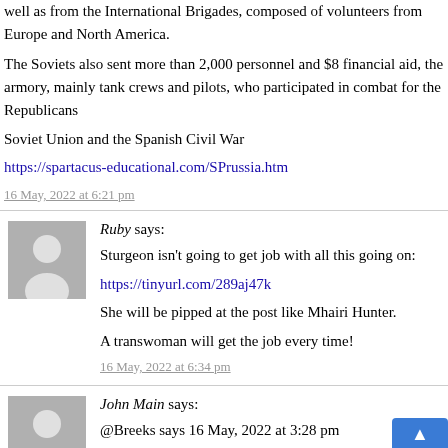well as from the International Brigades, composed of volunteers from Europe and North America.
The Soviets also sent more than 2,000 personnel and $8 financial aid, the armory, mainly tank crews and pilots, who participated in combat for the Republicans
Soviet Union and the Spanish Civil War
https://spartacus-educational.com/SPrussia.htm
16 May, 2022 at 6:21 pm
Ruby says:
Sturgeon isn't going to get job with all this going on:
https://tinyurl.com/289aj47k
She will be pipped at the post like Mhairi Hunter.
A transwoman will get the job every time!
16 May, 2022 at 6:34 pm
John Main says:
@Breeks says 16 May, 2022 at 3:28 pm
“the biggest threat to peace is NATO’s expansion”